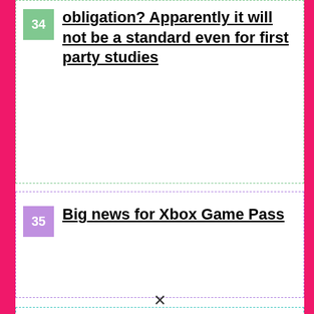34 obligation? Apparently it will not be a standard even for first party studies
35 Big news for Xbox Game Pass
36 After the director of Assassin’s Creed Valhalla, the head of Xbox marketing also admitted that they made a mistake
Inside Xbox returns today, April 7